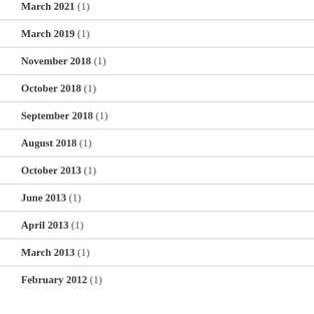March 2021 (1)
March 2019 (1)
November 2018 (1)
October 2018 (1)
September 2018 (1)
August 2018 (1)
October 2013 (1)
June 2013 (1)
April 2013 (1)
March 2013 (1)
February 2012 (1)